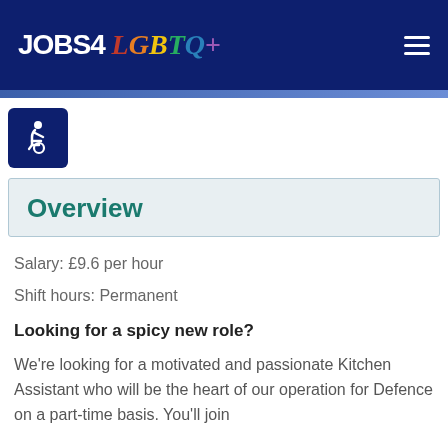JOBS4 LGBTQ+
[Figure (logo): Accessibility icon – white wheelchair user figure on dark navy background]
Overview
Salary: £9.6 per hour
Shift hours: Permanent
Looking for a spicy new role?
We're looking for a motivated and passionate Kitchen Assistant who will be the heart of our operation for Defence on a part-time basis. You'll join